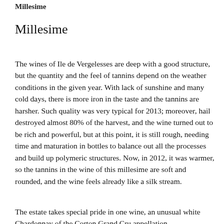Millesime
Millesime
The wines of Ile de Vergelesses are deep with a good structure, but the quantity and the feel of tannins depend on the weather conditions in the given year. With lack of sunshine and many cold days, there is more iron in the taste and the tannins are harsher. Such quality was very typical for 2013; moreover, hail destroyed almost 80% of the harvest, and the wine turned out to be rich and powerful, but at this point, it is still rough, needing time and maturation in bottles to balance out all the processes and build up polymeric structures. Now, in 2012, it was warmer, so the tannins in the wine of this millesime are soft and rounded, and the wine feels already like a silk stream.
The estate takes special pride in one wine, an unusual white Chardonnay of the Corton Grand Cru appellation